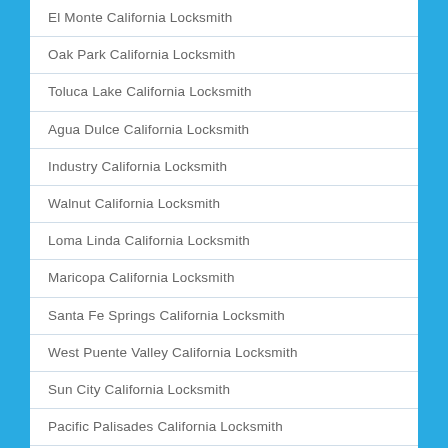El Monte California Locksmith
Oak Park California Locksmith
Toluca Lake California Locksmith
Agua Dulce California Locksmith
Industry California Locksmith
Walnut California Locksmith
Loma Linda California Locksmith
Maricopa California Locksmith
Santa Fe Springs California Locksmith
West Puente Valley California Locksmith
Sun City California Locksmith
Pacific Palisades California Locksmith
Ventura California Locksmith
Guasti California Locksmith
Camarillo California Locksmith